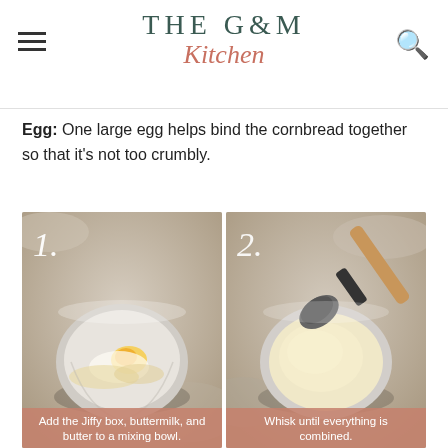THE G&M Kitchen
Egg: One large egg helps bind the cornbread together so that it's not too crumbly.
[Figure (photo): Step 1: A ceramic bowl containing Jiffy cornbread mix, buttermilk, and an egg (visible yolk), unmixed ingredients.]
Add the Jiffy box, buttermilk, and butter to a mixing bowl.
[Figure (photo): Step 2: The same ceramic bowl now showing a smooth, pale yellow batter being stirred with a black silicone spatula with a wooden handle.]
Whisk until everything is combined.